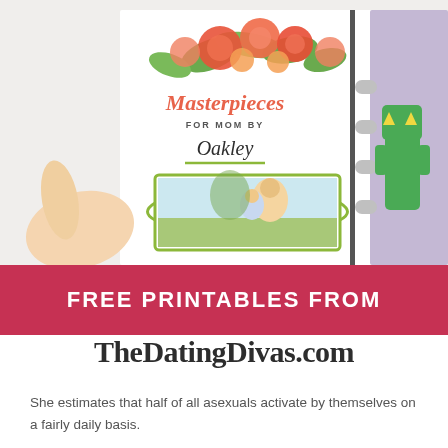[Figure (photo): A hand holding open a binder/portfolio. The left page shows a decorative 'Masterpieces for Mom by Oakley' cover with floral watercolor artwork at the top and a photo of a mother and child. The right page of the binder shows a purple page with a green paper craft monster figure.]
FREE PRINTABLES FROM
TheDatingDivas.com
She estimates that half of all asexuals activate by themselves on a fairly daily basis.